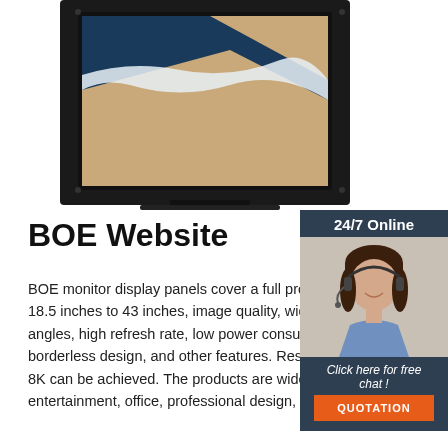[Figure (photo): A black monitor/display panel showing a beach wave aerial photo on screen, centered at top of page]
[Figure (photo): Sidebar with dark blue background showing '24/7 Online' text, a customer service agent photo (woman with headset smiling), 'Click here for free chat!' text, and an orange QUOTATION button]
BOE Website
BOE monitor display panels cover a full products from 18.5 inches to 43 inches, image quality, wide viewing angles, high refresh rate, low power consumption, a borderless design, and other features. Resolution of up to 8K can be achieved. The products are widely used in entertainment, office, professional design, and